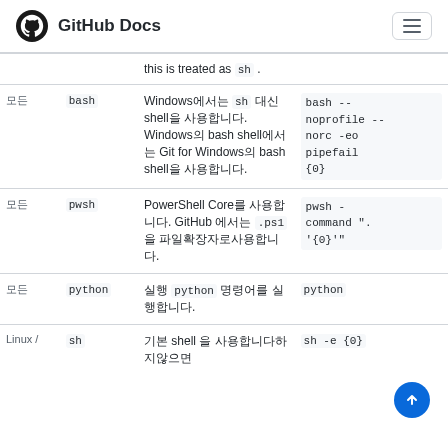GitHub Docs
| OS | shell | 설명 | 명령 |
| --- | --- | --- | --- |
|  |  | this is treated as sh . |  |
| 모든 | bash | Windows에서는 sh 대신 shell을 사용합니다. Windows의 bash shell에서는 Git for Windows의 bash shell을 사용합니다. | bash --
noprofile --
norc -eo
pipefail
{0} |
| 모든 | pwsh | PowerShell Core를 사용합니다. GitHub에서는 .ps1 을 파일확장자로사용합니다. | pwsh -
command ".
'{0}'" |
| 모든 | python | 실행 python 명령어를 실행합니다. | python |
| Linux / | sh | 기본 shell 을 사용합니다하지않으면 | sh -e {0} |